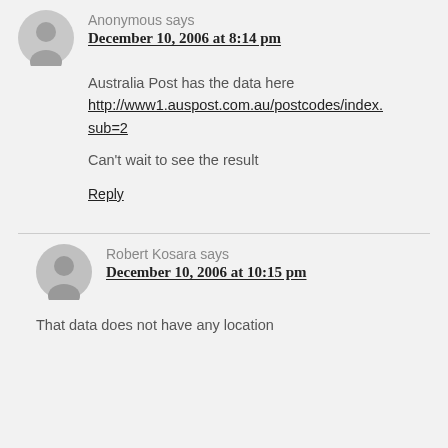Anonymous says
December 10, 2006 at 8:14 pm
Australia Post has the data here http://www1.auspost.com.au/postcodes/index.sub=2
Can't wait to see the result
Reply
Robert Kosara says
December 10, 2006 at 10:15 pm
That data does not have any location